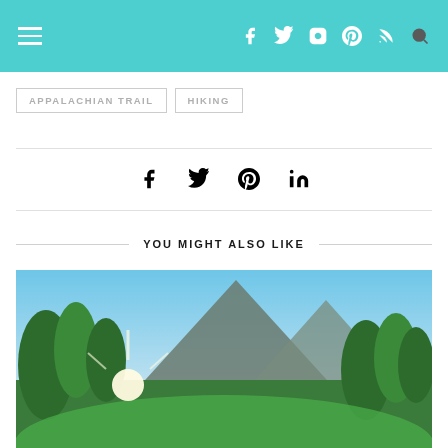Navigation header with hamburger menu and social icons: Facebook, Twitter, Instagram, Pinterest, RSS, Search
APPALACHIAN TRAIL   HIKING
Share icons: Facebook, Twitter, Pinterest, LinkedIn
YOU MIGHT ALSO LIKE
[Figure (photo): Outdoor nature photo showing mountain scenery with green trees, blue sky, and sunlight.]